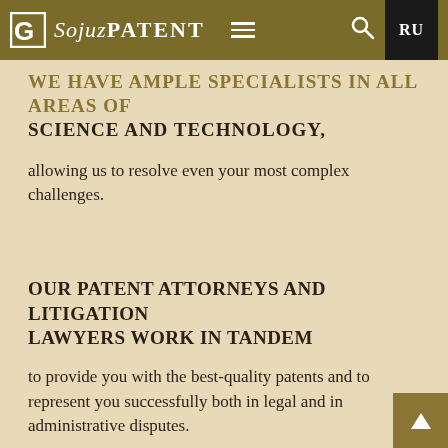SojuzPATENT — RU navigation bar
WE HAVE AMPLE SPECIALISTS IN ALL AREAS OF SCIENCE AND TECHNOLOGY,
allowing us to resolve even your most complex challenges.
OUR PATENT ATTORNEYS AND LITIGATION LAWYERS WORK IN TANDEM
to provide you with the best-quality patents and to represent you successfully both in legal and in administrative disputes.